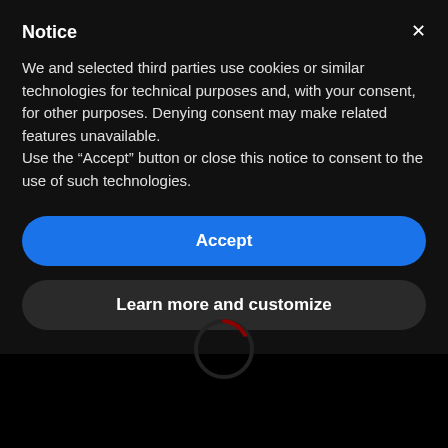Notice
We and selected third parties use cookies or similar technologies for technical purposes and, with your consent, for other purposes. Denying consent may make related features unavailable.
Use the “Accept” button or close this notice to consent to the use of such technologies.
Accept
Learn more and customize
[Figure (other): Loading spinner — a partial circle arc in dark red/crimson on a black background, indicating a loading state]